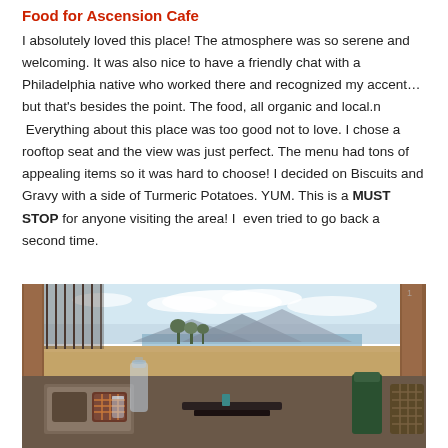Food for Ascension Cafe
I absolutely loved this place!  The atmosphere was so serene and welcoming.  It was also nice to have a friendly chat with a Philadelphia native who worked there and recognized my accent… but that's besides the point.   The food, all organic and local.n  Everything about this place was too good not to love.   I chose a rooftop seat and the view was just perfect.  The menu had tons of appealing items so it was hard to choose! I decided on Biscuits and Gravy with a side of Turmeric Potatoes.  YUM.   This is a MUST STOP for anyone visiting the area! I  even tried to go back a second time.
[Figure (photo): Rooftop seating area of Ascension Cafe showing outdoor furniture with cushions, wooden pillars, a glass water carafe, and a scenic view of mountains and sky with clouds in the background.]